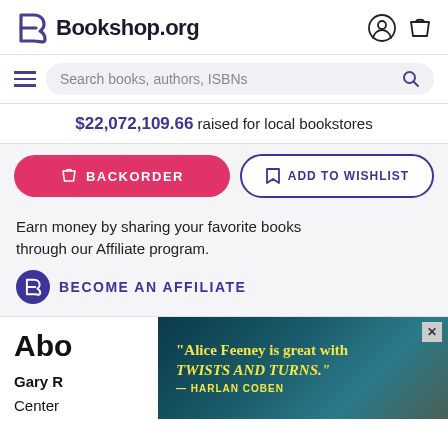Bookshop.org
Search books, authors, ISBNs
$22,072,109.66 raised for local bookstores
BACKORDER
ADD TO WISHLIST
Earn money by sharing your favorite books through our Affiliate program.
BECOME AN AFFILIATE
About
Gary R
ACH
Center
ngton
[Figure (screenshot): Advertisement overlay showing quote: "Alice Feeney is great with TWISTS AND TURNS." — HARLAN COBEN, with a dark coastal/cliff scene in the background]